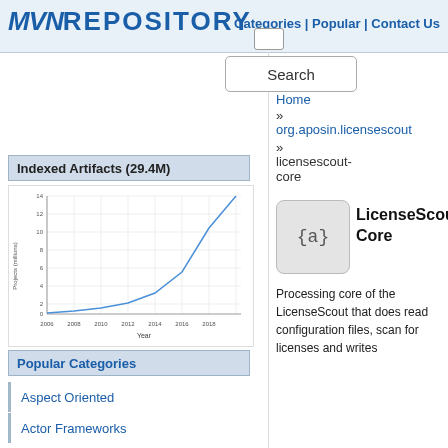MVNRepository | Categories | Popular | Contact Us
Search
Indexed Artifacts (29.4M)
[Figure (line-chart): Line chart showing growth in indexed artifacts from ~2006 to ~2019, rising steeply from near 0 to about 14 million projects.]
Popular Categories
Aspect Oriented
Actor Frameworks
Application Metrics
Build Tools
Bytecode Libraries
Command Line Parsers
Cache Implementations
Cloud Computing
Home
»
org.aposin.licensescout
»
licensescout-core
[Figure (logo): Icon showing {a} for artifact]
LicenseScout Core
Processing core of the LicenseScout that does read configuration files, scan for licenses and writes